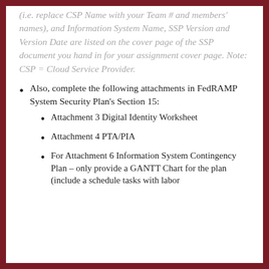(i.e. replace CSP Name with your Team # and members' names), and Information System Name, SSP Version and Version Date are listed on the cover page of the SSP document you hand in for your assignment cover page. Note: CSP = Cloud Service Provider.
Also, complete the following attachments in FedRAMP System Security Plan's Section 15:
Attachment 3 Digital Identity Worksheet
Attachment 4 PTA/PIA
For Attachment 6 Information System Contingency Plan – only provide a GANTT Chart for the plan (include a schedule tasks with labor